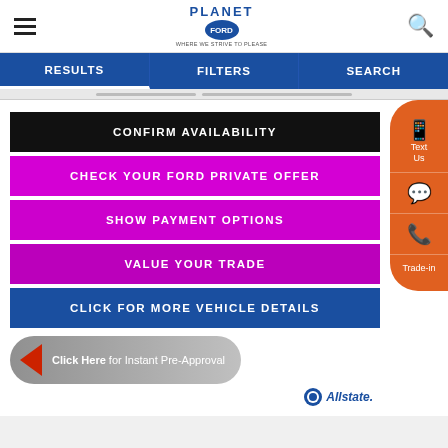Planet Ford — hamburger menu, logo, search icon
RESULTS  FILTERS  SEARCH
CONFIRM AVAILABILITY
CHECK YOUR FORD PRIVATE OFFER
SHOW PAYMENT OPTIONS
VALUE YOUR TRADE
CLICK FOR MORE VEHICLE DETAILS
[Figure (screenshot): Pre-approval banner with red arrow and gray button reading 'Click Here for Instant Pre-Approval' with Allstate logo]
[Figure (infographic): Orange sidebar with phone/text, chat, call, and trade-in icons]